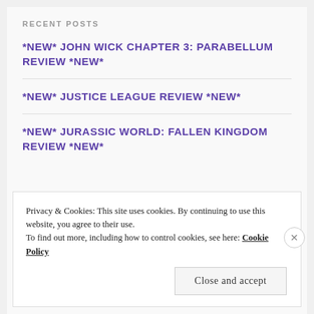RECENT POSTS
*NEW* JOHN WICK CHAPTER 3: PARABELLUM REVIEW *NEW*
*NEW* JUSTICE LEAGUE REVIEW *NEW*
*NEW* JURASSIC WORLD: FALLEN KINGDOM REVIEW *NEW*
Privacy & Cookies: This site uses cookies. By continuing to use this website, you agree to their use.
To find out more, including how to control cookies, see here: Cookie Policy
Close and accept